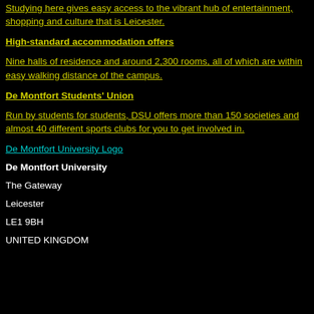Studying here gives easy access to the vibrant hub of entertainment, shopping and culture that is Leicester.
High-standard accommodation offers
Nine halls of residence and around 2,300 rooms, all of which are within easy walking distance of the campus.
De Montfort Students' Union
Run by students for students, DSU offers more than 150 societies and almost 40 different sports clubs for you to get involved in.
De Montfort University Logo
De Montfort University
The Gateway
Leicester
LE1 9BH
UNITED KINGDOM